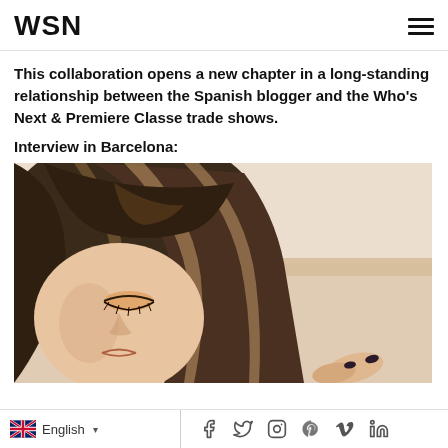WSN
This collaboration opens a new chapter in a long-standing relationship between the Spanish blogger and the Who's Next & Premiere Classe trade shows.
Interview in Barcelona:
[Figure (photo): Close-up photo of a young woman with long brown highlighted hair and bangs, wearing orange eyeshadow, looking downward. She appears to be holding something with dark nail polish. The background is a light beige/cream tone with a horizontal wooden shelf or ledge visible.]
English | Social icons: Facebook, Twitter, Instagram, Pinterest, Vimeo, LinkedIn